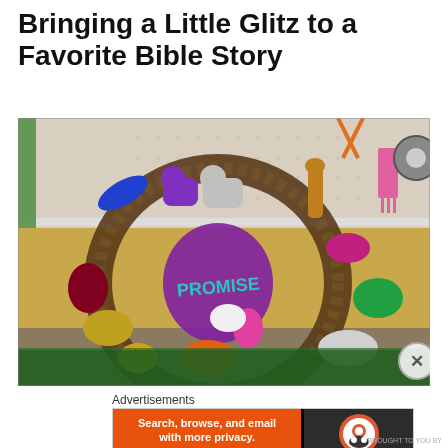Bringing a Little Glitz to a Favorite Bible Story
[Figure (photo): A decorative wreath made of twigs adorned with colorful glitter animal cutouts (elephants, giraffes, lions, birds, etc.) in pairs, with a central purple glitter shield reading 'PROMISE' in teal letters, displayed on a craft table with tools visible in background.]
Advertisements
[Figure (screenshot): DuckDuckGo advertisement banner: orange left side with text 'Search, browse, and email with more privacy. All in One Free App' and dark right side with DuckDuckGo logo and text 'DuckDuckGo']